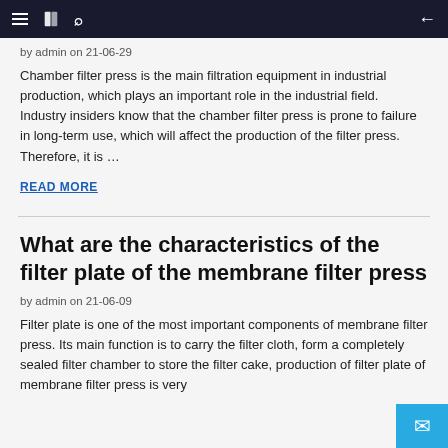Navigation bar with menu, book, search, and back icons
by admin on 21-06-29
Chamber filter press is the main filtration equipment in industrial production, which plays an important role in the industrial field. Industry insiders know that the chamber filter press is prone to failure in long-term use, which will affect the production of the filter press. Therefore, it is …
READ MORE
What are the characteristics of the filter plate of the membrane filter press
by admin on 21-06-09
Filter plate is one of the most important components of membrane filter press. Its main function is to carry the filter cloth, form a completely sealed filter chamber to store the filter cake, production of filter plate of membrane filter press is very…